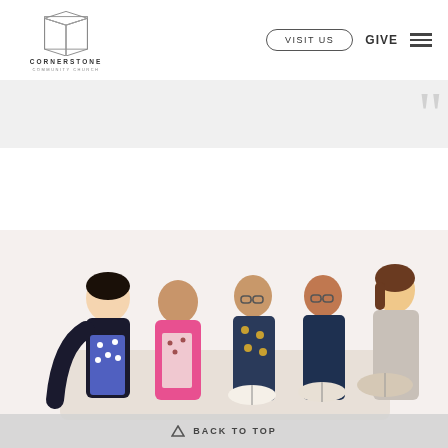[Figure (logo): Cornerstone Community Church logo with geometric box icon and text]
VISIT US   GIVE   ☰
[Figure (photo): Five young adults sitting together in a group, smiling and reading books/bibles in a bright room]
BACK TO TOP